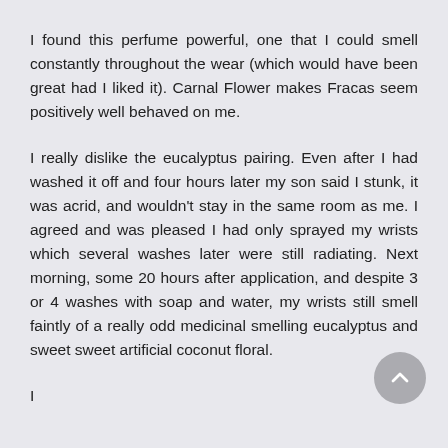I found this perfume powerful, one that I could smell constantly throughout the wear (which would have been great had I liked it). Carnal Flower makes Fracas seem positively well behaved on me.
I really dislike the eucalyptus pairing. Even after I had washed it off and four hours later my son said I stunk, it was acrid, and wouldn't stay in the same room as me. I agreed and was pleased I had only sprayed my wrists which several washes later were still radiating. Next morning, some 20 hours after application, and despite 3 or 4 washes with soap and water, my wrists still smell faintly of a really odd medicinal smelling eucalyptus and sweet sweet artificial coconut floral.
I…